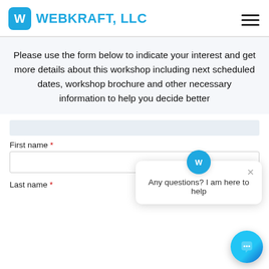WEBKRAFT, LLC
Please use the form below to indicate your interest and get more details about this workshop including next scheduled dates, workshop brochure and other necessary information to help you decide better
First name *
Last name *
[Figure (screenshot): Chat popup with Webkraft logo icon and message: Any questions? I am here to help, with a close X button]